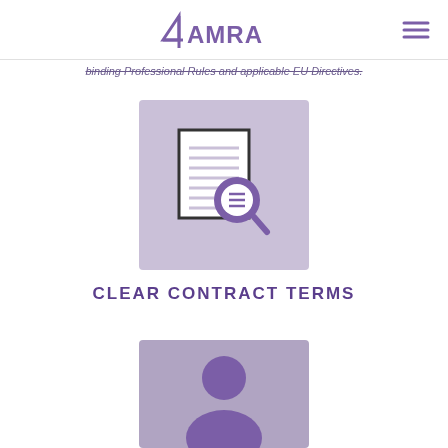4AMRA
binding Professional Rules and applicable EU Directives.
[Figure (illustration): Document with magnifying glass icon on a purple/lavender background square]
CLEAR CONTRACT TERMS
[Figure (illustration): Person/profile icon on a purple background square, partially visible at bottom of page]